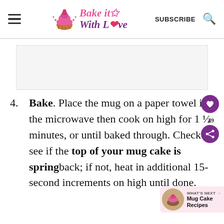Bake it With Love | SUBSCRIBE
[Figure (other): Advertisement placeholder rectangle]
4. Bake. Place the mug on a paper towel in the microwave then cook on high for 1 ½ minutes, or until baked through. Check to see if the top of your mug cake is spring back; if not, heat in additional 15-second increments on high until done.